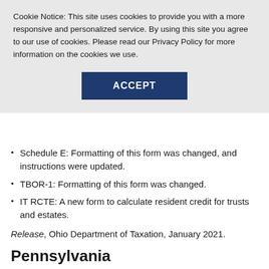Cookie Notice: This site uses cookies to provide you with a more responsive and personalized service. By using this site you agree to our use of cookies. Please read our Privacy Policy for more information on the cookies we use.
[Figure (other): ACCEPT button - dark navy blue rectangle with white bold text ACCEPT]
Schedule E: Formatting of this form was changed, and instructions were updated.
TBOR-1: Formatting of this form was changed.
IT RCTE: A new form to calculate resident credit for trusts and estates.
Release, Ohio Department of Taxation, January 2021.
Pennsylvania
Corporate, personal income taxes: PPP loan taxability